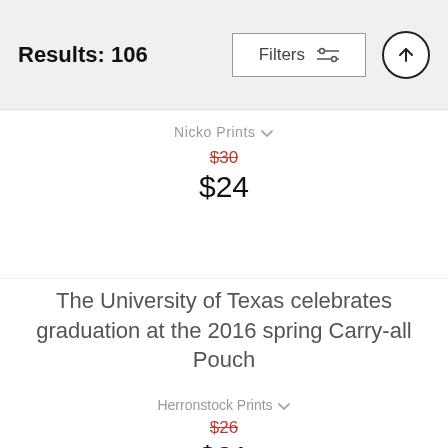Results: 106
Nicko Prints
$30 $24
The University of Texas celebrates graduation at the 2016 spring Carry-all Pouch
Herronstock Prints
$26 $21
The Main Building of the University of